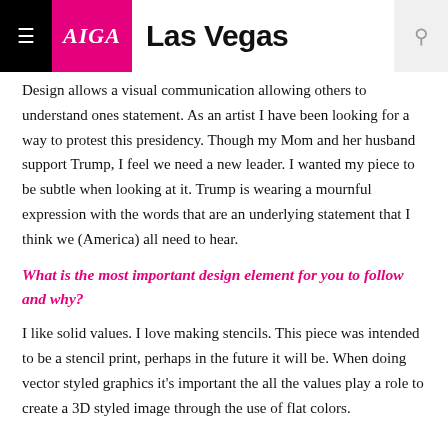AIGA Las Vegas
Design allows a visual communication allowing others to understand ones statement. As an artist I have been looking for a way to protest this presidency. Though my Mom and her husband support Trump, I feel we need a new leader. I wanted my piece to be subtle when looking at it. Trump is wearing a mournful expression with the words that are an underlying statement that I think we (America) all need to hear.
What is the most important design element for you to follow and why?
I like solid values. I love making stencils. This piece was intended to be a stencil print, perhaps in the future it will be. When doing vector styled graphics it's important the all the values play a role to create a 3D styled image through the use of flat colors.